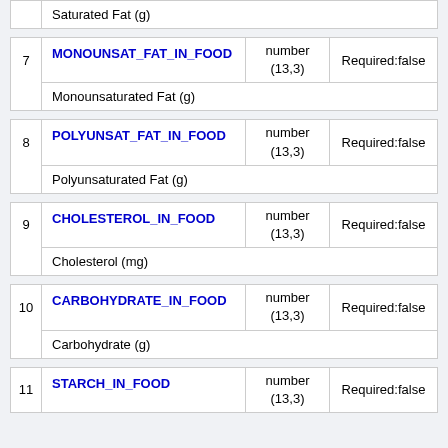| # | Field Name | Type | Required |
| --- | --- | --- | --- |
|  | Saturated Fat (g) |  |  |
| 7 | MONOUNSAT_FAT_IN_FOOD | number (13,3) | Required:false |
|  | Monounsaturated Fat (g) |  |  |
| 8 | POLYUNSAT_FAT_IN_FOOD | number (13,3) | Required:false |
|  | Polyunsaturated Fat (g) |  |  |
| 9 | CHOLESTEROL_IN_FOOD | number (13,3) | Required:false |
|  | Cholesterol (mg) |  |  |
| 10 | CARBOHYDRATE_IN_FOOD | number (13,3) | Required:false |
|  | Carbohydrate (g) |  |  |
| 11 | STARCH_IN_FOOD | number (13,3) | Required:false |